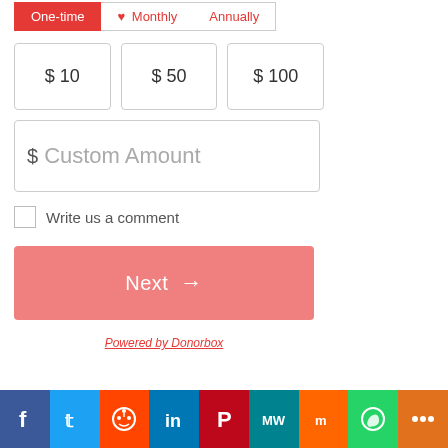One-time | Monthly | Annually (tab selector)
$ 10
$ 50
$ 100
$ Custom Amount
Write us a comment
Next →
Powered by Donorbox
[Figure (screenshot): Social sharing bar with icons: Facebook, Twitter, Reddit, LinkedIn, Pinterest, MeWe, Mix, WhatsApp, More]